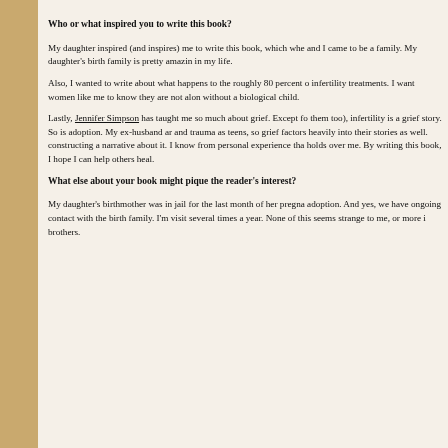Who or what inspired you to write this book?
My daughter inspired (and inspires) me to write this book, which when and I came to be a family. My daughter’s birth family is pretty amazing in my life.
Also, I wanted to write about what happens to the roughly 80 percent of infertility treatments. I want women like me to know they are not alone without a biological child.
Lastly, Jennifer Simpson has taught me so much about grief. Except for them too), infertility is a grief story. So is adoption. My ex-husband and trauma as teens, so grief factors heavily into their stories as well. constructing a narrative about it. I know from personal experience that holds over me. By writing this book, I hope I can help others heal.
What else about your book might pique the reader’s interest?
My daughter’s birthmother was in jail for the last month of her pregnancy adoption. And yes, we have ongoing contact with the birth family. I’m visit several times a year. None of this seems strange to me, or more brothers.